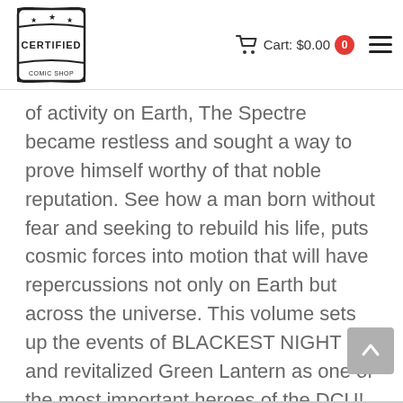Certified Comic Shop — Cart: $0.00  0
of activity on Earth, The Spectre became restless and sought a way to prove himself worthy of that noble reputation. See how a man born without fear and seeking to rebuild his life, puts cosmic forces into motion that will have repercussions not only on Earth but across the universe. This volume sets up the events of BLACKEST NIGHT and revitalized Green Lantern as one of the most important heroes of the DCU!